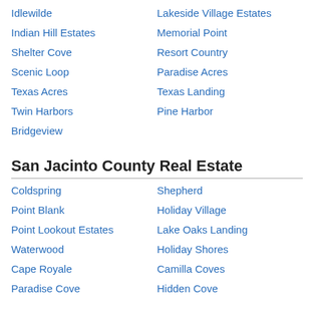Idlewilde
Lakeside Village Estates
Indian Hill Estates
Memorial Point
Shelter Cove
Resort Country
Scenic Loop
Paradise Acres
Texas Acres
Texas Landing
Twin Harbors
Pine Harbor
Bridgeview
San Jacinto County Real Estate
Coldspring
Shepherd
Point Blank
Holiday Village
Point Lookout Estates
Lake Oaks Landing
Waterwood
Holiday Shores
Cape Royale
Camilla Coves
Paradise Cove
Hidden Cove